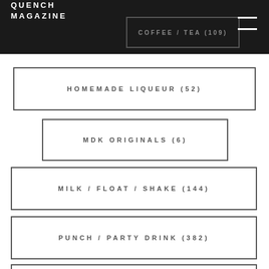QUENCH MAGAZINE
COFFEE / TEA (109)
HOMEMADE LIQUEUR (52)
MDK ORIGINALS (6)
MILK / FLOAT / SHAKE (144)
PUNCH / PARTY DRINK (382)